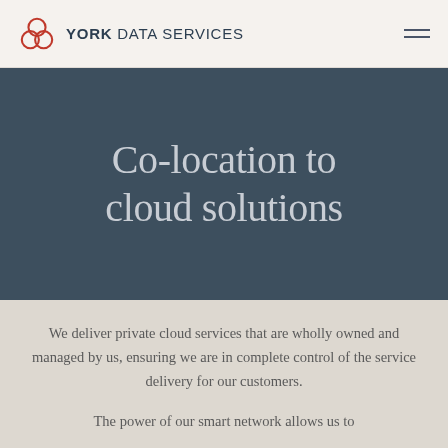YORK DATA SERVICES
Co-location to cloud solutions
We deliver private cloud services that are wholly owned and managed by us, ensuring we are in complete control of the service delivery for our customers.
The power of our smart network allows us to